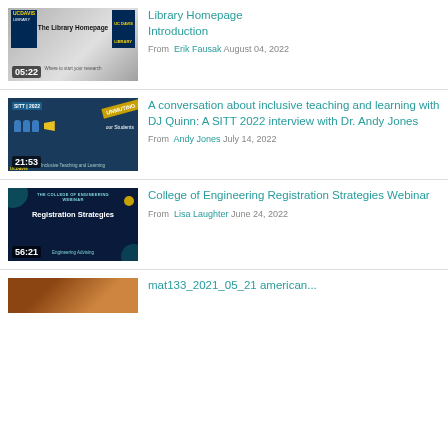[Figure (screenshot): Video thumbnail: UC Davis Library - The Library Homepage. Shows UC Davis Library logo, title 'The Library Homepage', duration 05:22]
Library Homepage Introduction
From  Erik Fausak August 04, 2022
[Figure (screenshot): Video thumbnail: SITT 2022 - Inclusive Teaching and Learning. Blue background with megaphone graphic, 'UNMUTING our Students' banner. Duration 21:53]
A conversation about inclusive teaching and learning with DJ Quinn: A SITT 2022 interview with Dr. Andy Jones
From  Andy Jones July 14, 2022
[Figure (screenshot): Video thumbnail: The College of Engineering Webinar - Registration Strategies. Dark blue background with teal decorative elements. Duration 56:21]
College of Engineering Registration Strategies Webinar
From  Lisa Laughter June 24, 2022
[Figure (screenshot): Partial video thumbnail visible at bottom of page]
mat133_2021_05_21 american...